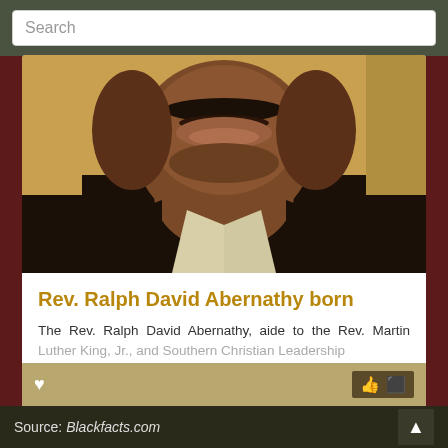Search
[Figure (photo): Close-up portrait photo of Rev. Ralph David Abernathy, showing his face with mustache, wearing a dark suit with white shirt]
Rev. Ralph David Abernathy born
The Rev. Ralph David Abernathy, aide to the Rev. Martin Luther King, Jr., and Southern Christian Leadership Conference leader, was born in Linden, Alabama
Read more
Source: Blackfacts.com